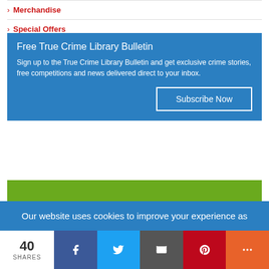> Merchandise
> Special Offers
Free True Crime Library Bulletin
Sign up to the True Crime Library Bulletin and get exclusive crime stories, free competitions and news delivered direct to your inbox.
Subscribe Now
Secure Website
Our website uses cookies to improve your experience as
40
SHARES